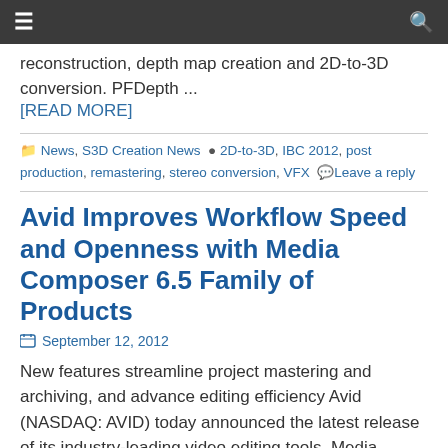Navigation bar with menu and search icons
reconstruction, depth map creation and 2D-to-3D conversion. PFDepth ...
[READ MORE]
News, S3D Creation News  2D-to-3D, IBC 2012, post production, remastering, stereo conversion, VFX  Leave a reply
Avid Improves Workflow Speed and Openness with Media Composer 6.5 Family of Products
September 12, 2012
New features streamline project mastering and archiving, and advance editing efficiency Avid (NASDAQ: AVID) today announced the latest release of its industry-leading video editing tools, Media Composer 6.5, Symphony 6.5, and NewsCutter 10.5, providing fast, open